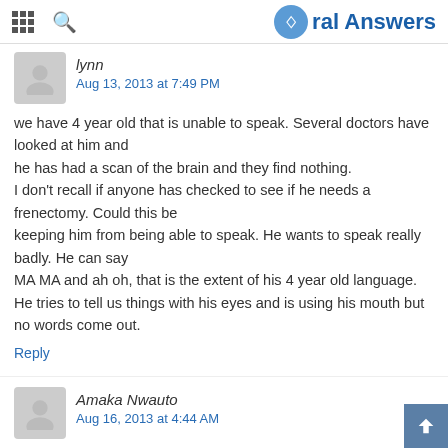Oral Answers
lynn
Aug 13, 2013 at 7:49 PM
we have 4 year old that is unable to speak. Several doctors have looked at him and he has had a scan of the brain and they find nothing. I don't recall if anyone has checked to see if he needs a frenectomy. Could this be keeping him from being able to speak. He wants to speak really badly. He can say MA MA and ah oh, that is the extent of his 4 year old language. He tries to tell us things with his eyes and is using his mouth but no words come out.
Reply
Amaka Nwauto
Aug 16, 2013 at 4:44 AM